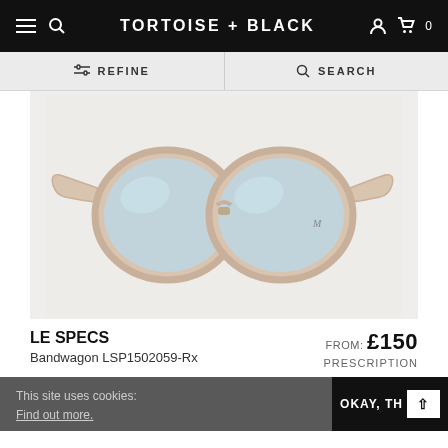TORTOISE + BLACK — Navigation bar with menu, search, account, and cart icons
REFINE | SEARCH
[Figure (photo): A pair of Le Specs Bandwagon sunglasses with translucent beige/nude frames and light blue mirrored lenses, displayed on a light grey background.]
LE SPECS
Bandwagon LSP1502059-Rx
FROM: £150
PRESCRIPTION
This site uses cookies:
Find out more.
OKAY, TH[ank you]